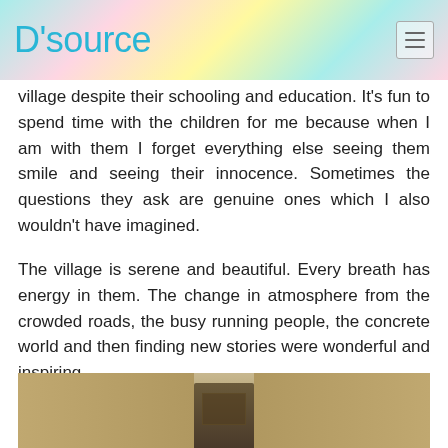D'source
village despite their schooling and education. It's fun to spend time with the children for me because when I am with them I forget everything else seeing them smile and seeing their innocence. Sometimes the questions they ask are genuine ones which I also wouldn't have imagined.
The village is serene and beautiful. Every breath has energy in them. The change in atmosphere from the crowded roads, the busy running people, the concrete world and then finding new stories were wonderful and inspiring.
[Figure (photo): A sepia-toned photograph showing the exterior wall and doorway of a village building, with aged stone or mud walls and a wooden door.]